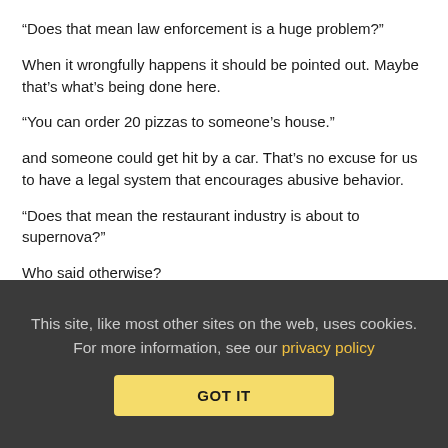“Does that mean law enforcement is a huge problem?”
When it wrongfully happens it should be pointed out. Maybe that’s what’s being done here.
“You can order 20 pizzas to someone’s house.”
and someone could get hit by a car. That’s no excuse for us to have a legal system that encourages abusive behavior.
“Does that mean the restaurant industry is about to supernova?”
Who said otherwise?
“Seems like you’re just looking for any reason to slam IP”
If there were no reasons to slam IP then looking for a reason shouldn’t turn up anything. But there are many good reasons to slam IP and he is just pointing them out.
This site, like most other sites on the web, uses cookies. For more information, see our privacy policy
GOT IT